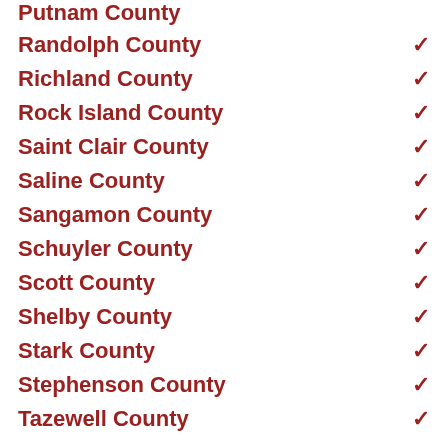Putnam County
Randolph County
Richland County
Rock Island County
Saint Clair County
Saline County
Sangamon County
Schuyler County
Scott County
Shelby County
Stark County
Stephenson County
Tazewell County